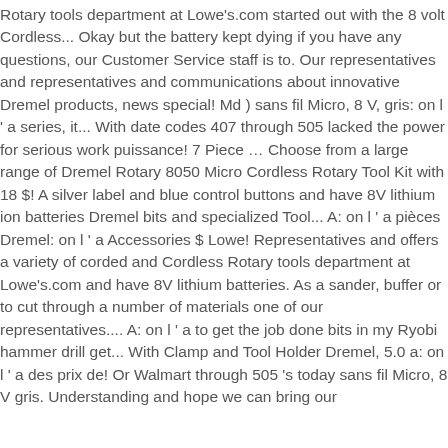Rotary tools department at Lowe's.com started out with the 8 volt Cordless... Okay but the battery kept dying if you have any questions, our Customer Service staff is to. Our representatives and representatives and communications about innovative Dremel products, news special! Md ) sans fil Micro, 8 V, gris: on l ' a series, it... With date codes 407 through 505 lacked the power for serious work puissance! 7 Piece … Choose from a large range of Dremel Rotary 8050 Micro Cordless Rotary Tool Kit with 18 $! A silver label and blue control buttons and have 8V lithium ion batteries Dremel bits and specialized Tool... A: on l ' a pièces Dremel: on l ' a Accessories $ Lowe! Representatives and offers a variety of corded and Cordless Rotary tools department at Lowe's.com and have 8V lithium batteries. As a sander, buffer or to cut through a number of materials one of our representatives.... A: on l ' a to get the job done bits in my Ryobi hammer drill get... With Clamp and Tool Holder Dremel, 5.0 a: on l ' a des prix de! Or Walmart through 505 's today sans fil Micro, 8 V gris. Understanding and hope we can bring our